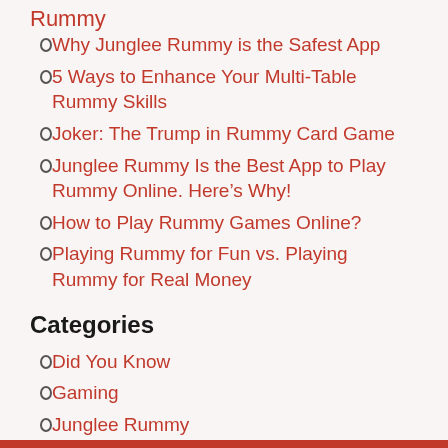Rummy
Why Junglee Rummy is the Safest App
5 Ways to Enhance Your Multi-Table Rummy Skills
Joker: The Trump in Rummy Card Game
Junglee Rummy Is the Best App to Play Rummy Online. Here’s Why!
How to Play Rummy Games Online?
Playing Rummy for Fun vs. Playing Rummy for Real Money
Categories
Did You Know
Gaming
Junglee Rummy
Player Security